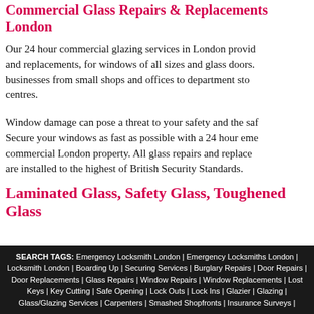Commercial Glass Repairs & Replacements London
Our 24 hour commercial glazing services in London provide repairs and replacements, for windows of all sizes and glass doors. We cover businesses from small shops and offices to department stores and shopping centres.
Window damage can pose a threat to your safety and the safety of others. Secure your windows as fast as possible with a 24 hour emergency call out to your commercial London property. All glass repairs and replacements are installed to the highest of British Security Standards.
Laminated Glass, Safety Glass, Toughened Glass
What is the best type of glass? Premier Security London off including laminated glass or safety glass for a safe and dura Laminated safety glass is recommended for larger buildings of security from inside the building, blocks UV rays and ke
SEARCH TAGS: Emergency Locksmith London | Emergency Locksmiths London | Locksmith London | Boarding Up | Securing Services | Burglary Repairs | Door Repairs | Door Replacements | Glass Repairs | Window Repairs | Window Replacements | Lost Keys | Key Cutting | Safe Opening | Lock Outs | Lock Ins | Glazier | Glazing | Glass/Glazing Services | Carpenters | Smashed Shopfronts | Insurance Surveys |